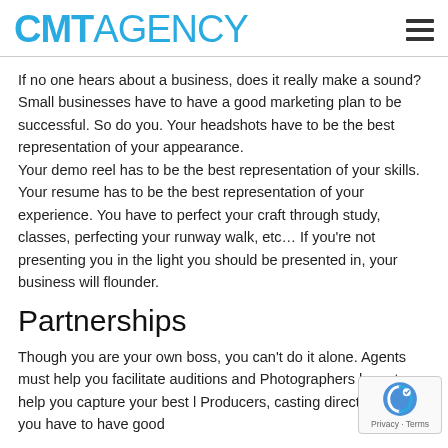CMT AGENCY
If no one hears about a business, does it really make a sound? Small businesses have to have a good marketing plan to be successful. So do you. Your headshots have to be the best representation of your appearance. Your demo reel has to be the best representation of your skills. Your resume has to be the best representation of your experience. You have to perfect your craft through study, classes, perfecting your runway walk, etc... If you're not presenting you in the light you should be presented in, your business will flounder.
Partnerships
Though you are your own boss, you can't do it alone. Agents must help you facilitate auditions and Photographers have to help you capture your best l Producers, casting directors, etc..., you have to have good